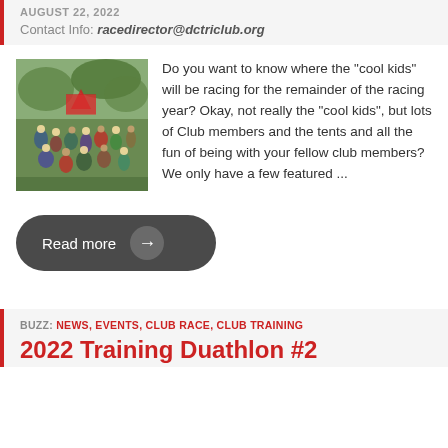AUGUST 22, 2022
Contact Info: racedirector@dctriclub.org
[Figure (photo): Group photo of triathlon club members gathered outdoors near trees and a red tent]
Do you want to know where the "cool kids" will be racing for the remainder of the racing year? Okay, not really the "cool kids", but lots of Club members and the tents and all the fun of being with your fellow club members? We only have a few featured ...
Read more →
BUZZ: NEWS, EVENTS, CLUB RACE, CLUB TRAINING
2022 Training Duathlon #2